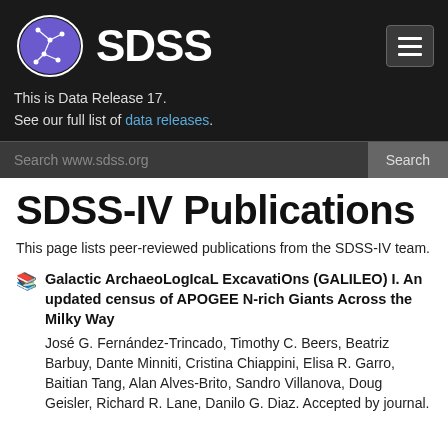SDSS — This is Data Release 17. See our full list of data releases.
SDSS-IV Publications
This page lists peer-reviewed publications from the SDSS-IV team.
Galactic ArchaeoLogIcaL ExcavatiOns (GALILEO) I. An updated census of APOGEE N-rich Giants Across the Milky Way — José G. Fernández-Trincado, Timothy C. Beers, Beatriz Barbuy, Dante Minniti, Cristina Chiappini, Elisa R. Garro, Baitian Tang, Alan Alves-Brito, Sandro Villanova, Doug Geisler, Richard R. Lane, Danilo G. Diaz. Accepted by journal.